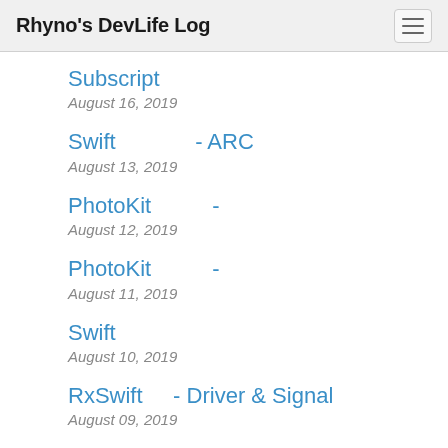Rhyno's DevLife Log
Subscript
August 16, 2019
Swift - ARC
August 13, 2019
PhotoKit -
August 12, 2019
PhotoKit -
August 11, 2019
Swift
August 10, 2019
RxSwift - Driver & Signal
August 09, 2019